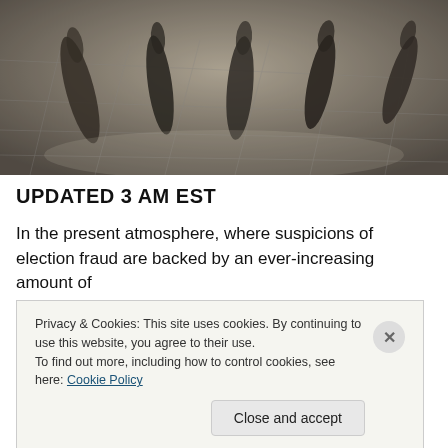[Figure (photo): Silhouettes and shadows of people walking on a paved stone ground, high contrast black and white/sepia toned image]
UPDATED 3 AM EST
In the present atmosphere, where suspicions of election fraud are backed by an ever-increasing amount of
Privacy & Cookies: This site uses cookies. By continuing to use this website, you agree to their use.
To find out more, including how to control cookies, see here: Cookie Policy